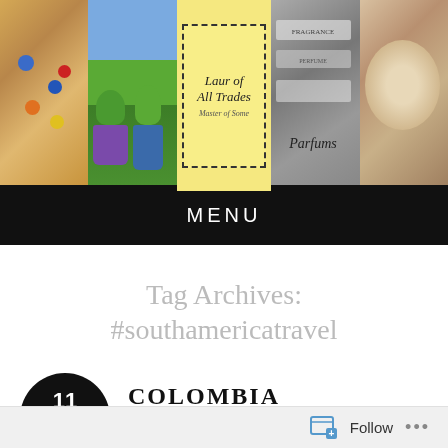[Figure (photo): Header banner with 5 photos: cookie/pizza with M&M candies, potted plants, 'Laur of All Trades Master of Some' blog logo on yellow background with dotted border, fragrance/perfume labels, sleeping fluffy dog]
MENU
Tag Archives:
#southamericatravel
11 MAR 2019
COLOMBIA
posted in Travel
Follow ...